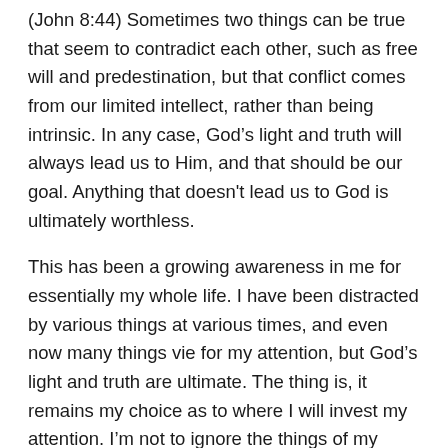(John 8:44) Sometimes two things can be true that seem to contradict each other, such as free will and predestination, but that conflict comes from our limited intellect, rather than being intrinsic. In any case, God's light and truth will always lead us to Him, and that should be our goal. Anything that doesn't lead us to God is ultimately worthless.
This has been a growing awareness in me for essentially my whole life. I have been distracted by various things at various times, and even now many things vie for my attention, but God's light and truth are ultimate. The thing is, it remains my choice as to where I will invest my attention. I'm not to ignore the things of my daily life, much less the people around me, but my ultimate focus needs to be on God, on His light and truth. I need to be careful always to speak the truth in love, and not wield it as a